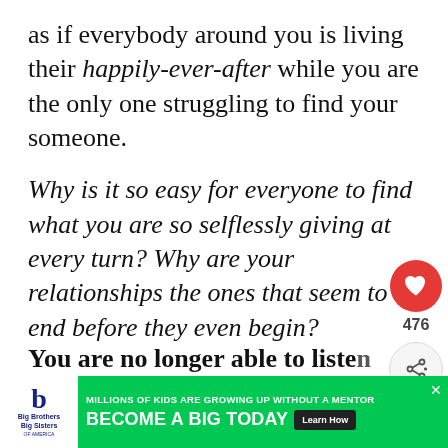as if everybody around you is living their happily-ever-after while you are the only one struggling to find your someone.
Why is it so easy for everyone to find what you are so selflessly giving at every turn? Why are your relationships the ones that seem to end before they even begin?
You are no longer able to listen to all that empty talk. You can no longer...
[Figure (infographic): Social interaction sidebar with heart/like button showing 476 likes and a share button]
[Figure (infographic): What's Next recommendation box showing 'The Wrong One Will Ma...' article thumbnail]
[Figure (infographic): Advertisement banner: Big Brothers Big Sisters - MILLIONS OF KIDS ARE GROWING UP WITHOUT A MENTOR. BECOME A BIG TODAY. Learn How.]